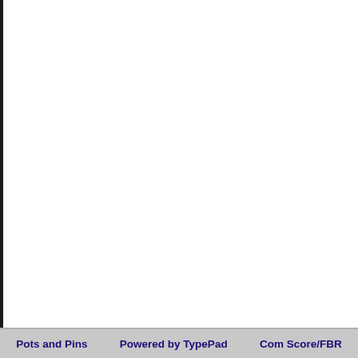Pots and Pins    Powered by TypePad    Com Score/FBR